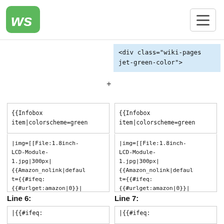[Figure (logo): Waveshare logo - green rounded square with white 'ws' script text]
[Figure (other): Hamburger menu icon (three horizontal lines) in a rounded rectangle button]
<div class="wiki-pages jet-green-color">
{{Infobox item|colorscheme=green
{{Infobox item|colorscheme=green
|img=[[File:1.8inch-LCD-Module-1.jpg|300px|{{Amazon_nolink|default={{#ifeq:{{#urlget:amazon|0}}|{{#urlget:Amazon|0}}|default|}}|url=link=https://www.waveshare.com/1.8inch-lcd-module.htm}} ]]
|img=[[File:1.8inch-LCD-Module-1.jpg|300px|{{Amazon_nolink|default={{#ifeq:{{#urlget:amazon|0}}|{{#urlget:Amazon|0}}|default|}}|url=link=https://www.waveshare.com/1.8inch-lcd-module.htm}} ]]
Line 6:
Line 7:
|{{#ifeq:
|{{#ifeq: